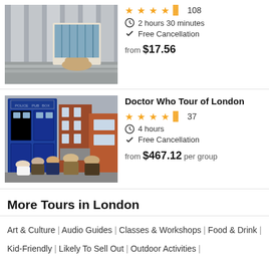[Figure (photo): Photo of person holding a photo in front of a classical building with columns]
4.5 stars, 108 reviews. 2 hours 30 minutes. Free Cancellation. from $17.56
[Figure (photo): Group of people posing in front of a blue TARDIS police box on a London street]
Doctor Who Tour of London
4.5 stars, 37 reviews. 4 hours. Free Cancellation. from $467.12 per group
More Tours in London
Art & Culture | Audio Guides | Classes & Workshops | Food & Drink |
Kid-Friendly | Likely To Sell Out | Outdoor Activities |